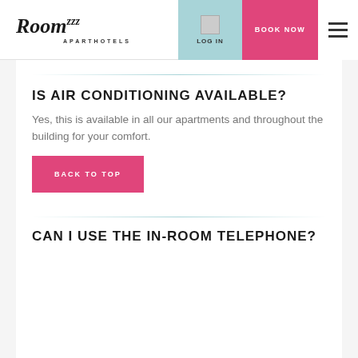Roomzzz APARTHOTELS — LOG IN | BOOK NOW
IS AIR CONDITIONING AVAILABLE?
Yes, this is available in all our apartments and throughout the building for your comfort.
BACK TO TOP
CAN I USE THE IN-ROOM TELEPHONE?